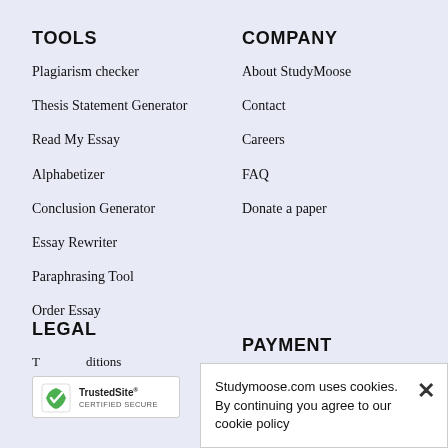TOOLS
Plagiarism checker
Thesis Statement Generator
Read My Essay
Alphabetizer
Conclusion Generator
Essay Rewriter
Paraphrasing Tool
Order Essay
COMPANY
About StudyMoose
Contact
Careers
FAQ
Donate a paper
LEGAL
T… ditions
PAYMENT
Studymoose.com uses cookies. By continuing you agree to our cookie policy